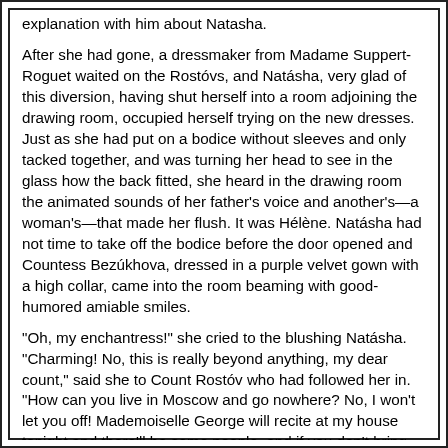explanation with him about Natasha.
After she had gone, a dressmaker from Madame Suppert-Roguet waited on the Rostóvs, and Natásha, very glad of this diversion, having shut herself into a room adjoining the drawing room, occupied herself trying on the new dresses. Just as she had put on a bodice without sleeves and only tacked together, and was turning her head to see in the glass how the back fitted, she heard in the drawing room the animated sounds of her father's voice and another's—a woman's—that made her flush. It was Hélène. Natásha had not time to take off the bodice before the door opened and Countess Bezúkhova, dressed in a purple velvet gown with a high collar, came into the room beaming with good-humored amiable smiles.
“Oh, my enchantress!” she cried to the blushing Natásha. “Charming! No, this is really beyond anything, my dear count,” said she to Count Rostóv who had followed her in. “How can you live in Moscow and go nowhere? No, I won’t let you off! Mademoiselle George will recite at my house tonight and there’ll be some people, and if you don’t bring your lovely girls—who are prettier than